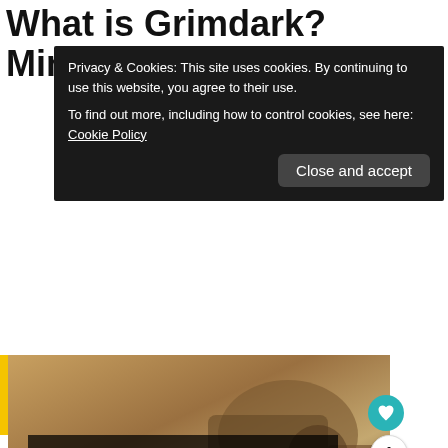What is Grimdark? Miniature
Privacy & Cookies: This site uses cookies. By continuing to use this website, you agree to their use.
To find out more, including how to control cookies, see here: Cookie Policy
[Figure (screenshot): Thumbnail image showing a miniature with text overlay 'WHAT IS "GRIMDARK"?' and watermark tangibleday.com]
What does Grimdark mean to yo... genre of art, visual style, or something